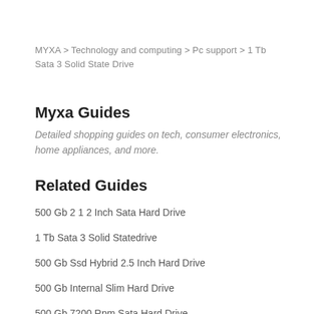MYXA > Technology and computing > Pc support > 1 Tb Sata 3 Solid State Drive
Myxa Guides
Detailed shopping guides on tech, consumer electronics, home appliances, and more.
Related Guides
500 Gb 2 1 2 Inch Sata Hard Drive
1 Tb Sata 3 Solid Statedrive
500 Gb Ssd Hybrid 2.5 Inch Hard Drive
500 Gb Internal Slim Hard Drive
500 Gb 7200 Rpm Sata Hard Drive